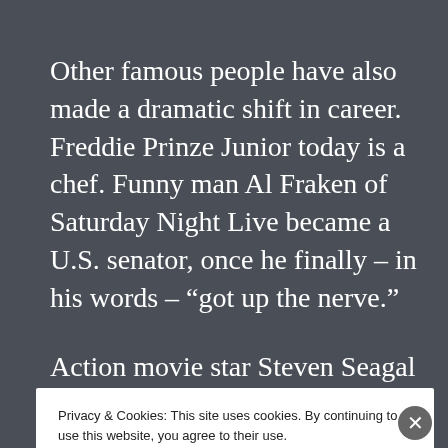Other famous people have also made a dramatic shift in career. Freddie Prinze Junior today is a chef. Funny man Al Fraken of Saturday Night Live became a U.S. senator, once he finally – in his words – “got up the nerve.”
Action movie star Steven Seagal is a reserve
Privacy & Cookies: This site uses cookies. By continuing to use this website, you agree to their use.
To find out more, including how to control cookies, see here: Cookie Policy